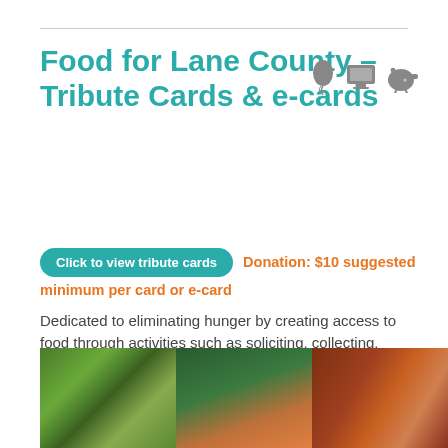Food for Lane County – Tribute Cards & e-cards
Click to view tribute cards   Donation: $10 suggested minimum per card or e-card
Dedicated to eliminating hunger by creating access to food through activities such as soliciting, collecting, rescuing, growing, preparing, and packaging food for distribution through a network of more than 100 social service agencies and programs; other services include public education programs and community advocacy.  Based in Eugene, OR.
[Figure (photo): Three photos showing food/nature: leafy green scene with person, a peach or apple fruit, and star anise spices with red berries]